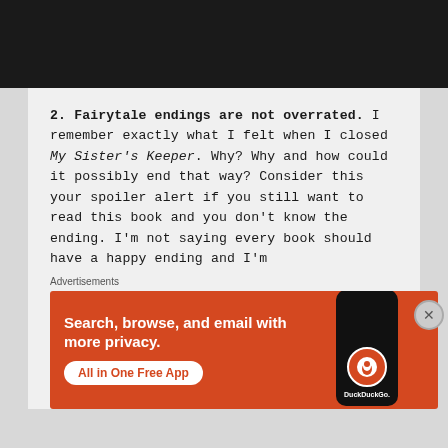[Figure (photo): Dark textured black background image at top of page]
2. Fairytale endings are not overrated. I remember exactly what I felt when I closed My Sister's Keeper. Why? Why and how could it possibly end that way? Consider this your spoiler alert if you still want to read this book and you don't know the ending. I'm not saying every book should have a happy ending and I'm
Advertisements
[Figure (screenshot): DuckDuckGo advertisement banner: orange background with text 'Search, browse, and email with more privacy. All in One Free App' and a phone graphic with DuckDuckGo logo]